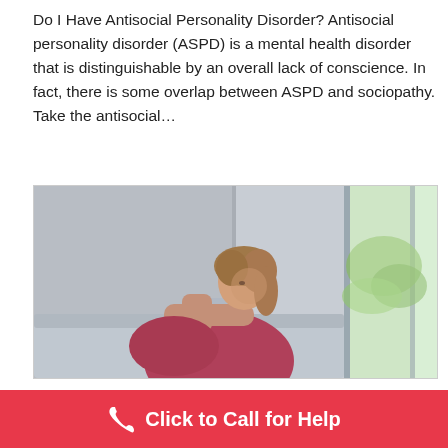Do I Have Antisocial Personality Disorder? Antisocial personality disorder (ASPD) is a mental health disorder that is distinguishable by an overall lack of conscience. In fact, there is some overlap between ASPD and sociopathy. Take the antisocial…
[Figure (photo): A woman in a red/burgundy top lying with her head resting on her arm on a sofa, looking sad or dejected, with a window visible in the background.]
Click to Call for Help